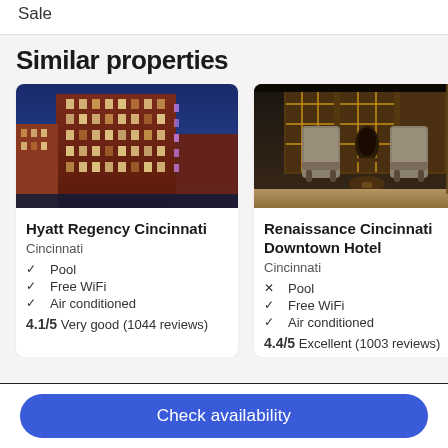Safe
Similar properties
[Figure (photo): Exterior night photo of Hyatt Regency Cincinnati – tall red-brick hotel building lit up at night with blue sky]
Hyatt Regency Cincinnati
Cincinnati
✓ Pool
✓ Free WiFi
✓ Air conditioned
4.1/5 Very good (1044 reviews)
[Figure (photo): Interior lobby photo of Renaissance Cincinnati Downtown Hotel – elegant seating area with high-back chairs and decorative fireplace]
Renaissance Cincinnati Downtown Hotel
Cincinnati
✗ Pool
✓ Free WiFi
✓ Air conditioned
4.4/5 Excellent (1003 reviews)
Check availability